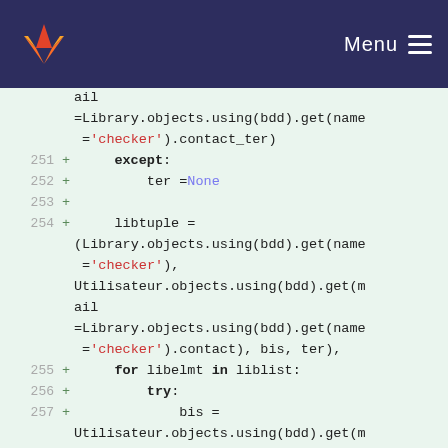GitLab — Menu
Code diff showing lines 251-257 of Python code with library and utilisateur object operations